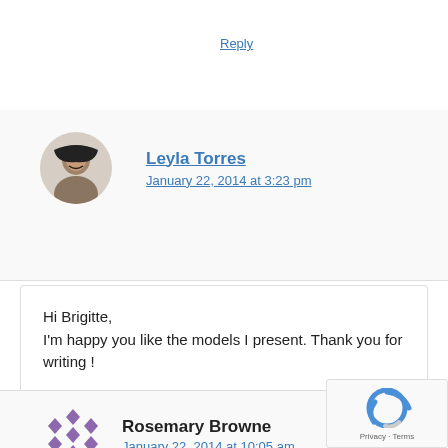Reply
Leyla Torres
January 22, 2014 at 3:23 pm
Hi Brigitte,
I'm happy you like the models I present. Thank you for writing !
Reply
Rosemary Browne
January 22, 2014 at 10:05 am